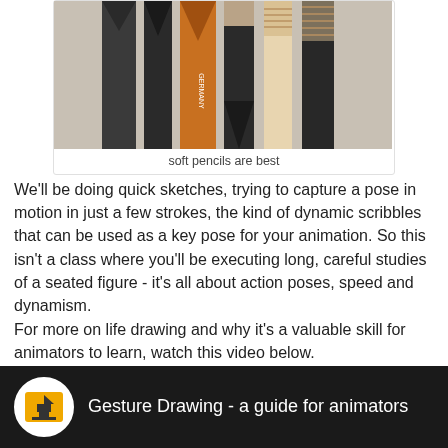[Figure (photo): Photo of several pencils of different sizes and types arranged upright, including a large black charcoal pencil, an orange pencil, and dark grey pencils with wrapped tops. The word GERMANY is visible on one pencil.]
soft pencils are best
We'll be doing quick sketches, trying to capture a pose in motion in just a few strokes, the kind of dynamic scribbles that can be used as a key pose for your animation. So this isn't a class where you'll be executing long, careful studies of a seated figure - it's all about action poses, speed and dynamism.
For more on life drawing and why it's a valuable skill for animators to learn, watch this video below.
[Figure (screenshot): Dark video thumbnail bar showing a circular logo on the left and the title 'Gesture Drawing - a guide for animators' in white text on dark background.]